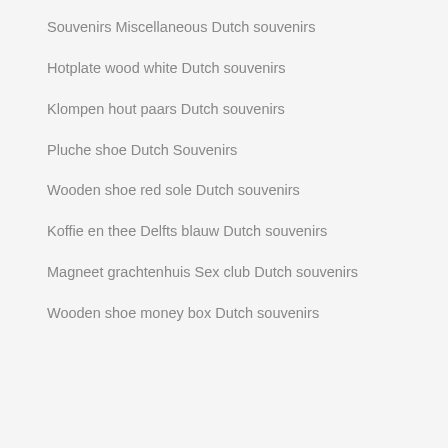Souvenirs Miscellaneous Dutch souvenirs
Hotplate wood white Dutch souvenirs
Klompen hout paars Dutch souvenirs
Pluche shoe Dutch Souvenirs
Wooden shoe red sole Dutch souvenirs
Koffie en thee Delfts blauw Dutch souvenirs
Magneet grachtenhuis Sex club Dutch souvenirs
Wooden shoe money box Dutch souvenirs